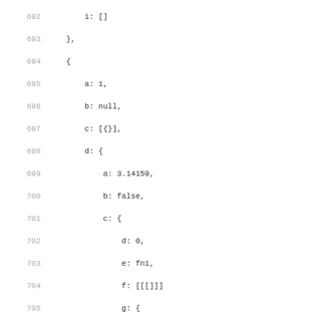Code listing lines 692-723 showing nested data structure with line numbers